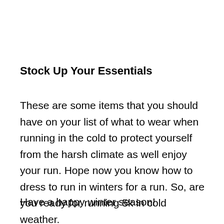Stock Up Your Essentials
These are some items that you should have on your list of what to wear when running in the cold to protect yourself from the harsh climate as well enjoy your run. Hope now you know how to dress to run in winters for a run. So, are you ready for running 5k in cold weather.
Have a happy winter season!